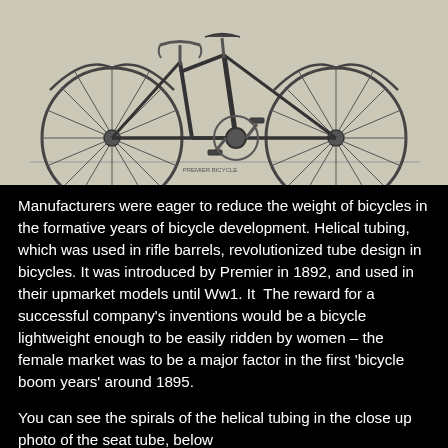[Figure (illustration): Vintage engraving/illustration of a safety bicycle (late 19th century style) showing two equal-sized wheels with spokes, a diamond frame, handlebars, seat, and pedal crank mechanism. The bicycle is shown in profile against a light gray/beige background. A small label appears near the bottom center of the image.]
Manufacturers were eager to reduce the weight of bicycles in the formative years of bicycle development. Helical tubing, which was used in rifle barrels, revolutionized tube design in bicycles. It was introduced by Premier in 1892, and used in their upmarket models until Ww1. It  The reward for a successful company’s inventions would be a bicycle lightweight enough to be easily ridden by women – the female market was to be a major factor in the first ‘bicycle boom years’ around 1895.
You can see the spirals of the helical tubing in the close up photo of the seat tube, below